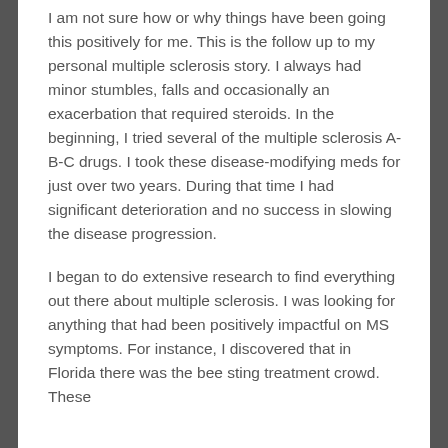I am not sure how or why things have been going this positively for me. This is the follow up to my personal multiple sclerosis story. I always had minor stumbles, falls and occasionally an exacerbation that required steroids. In the beginning, I tried several of the multiple sclerosis A-B-C drugs. I took these disease-modifying meds for just over two years. During that time I had significant deterioration and no success in slowing the disease progression.
I began to do extensive research to find everything out there about multiple sclerosis. I was looking for anything that had been positively impactful on MS symptoms. For instance, I discovered that in Florida there was the bee sting treatment crowd. These